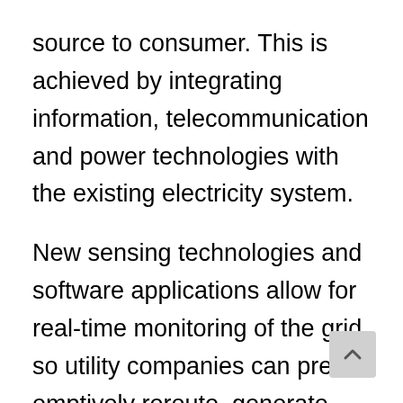source to consumer. This is achieved by integrating information, telecommunication and power technologies with the existing electricity system.
New sensing technologies and software applications allow for real-time monitoring of the grid, so utility companies can pre-emptively reroute, generate, inject or even store power to avoid outages.
Among other things, the smart grid can incorporate more renewable energy sources —